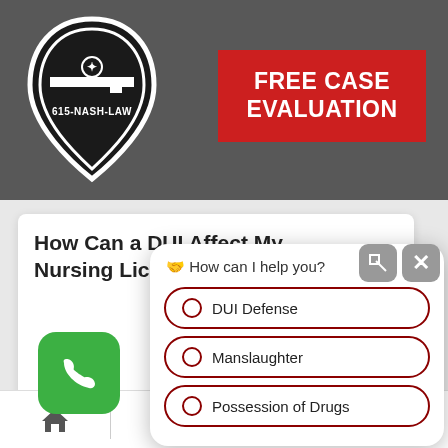[Figure (logo): 615-NASH-LAW logo: guitar pick shape in black with white Tennessee state outline and star, text '615-NASH-LAW' inside]
FREE CASE EVALUATION
How Can a DUI Affect My Nursing License in Tennessee?
🤝 How can I help you?
DUI Defense
Manslaughter
Possession of Drugs
How Can Nash-Law Help with Domestic V...?
TEXT